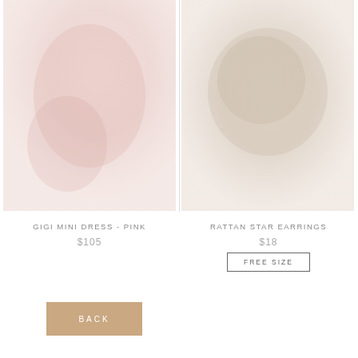[Figure (photo): Product photo of Gigi Mini Dress in pink, faded/washed out pink tones showing a dress on a model or mannequin]
[Figure (photo): Product photo of Rattan Star Earrings, faded/washed out beige tones showing star-shaped rattan earrings]
GIGI MINI DRESS - PINK
$105
RATTAN STAR EARRINGS
$18
FREE SIZE
BACK